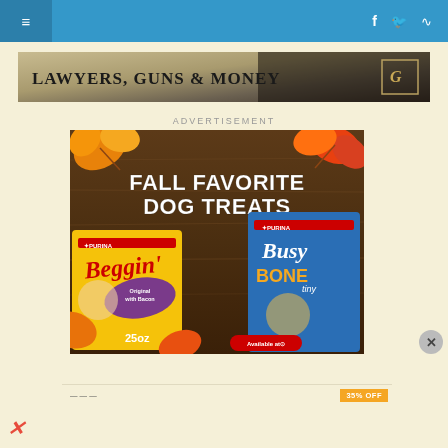≡ (navigation bar with hamburger menu and social icons: f, bird/Twitter, RSS)
[Figure (logo): Lawyers, Guns & Money website banner logo with dark atmospheric background]
ADVERTISEMENT
[Figure (photo): Purina Fall Favorite Dog Treats advertisement showing Purina Beggin' Strips (Original with Bacon, 25oz) and Purina Busy Bone Tiny (30 count) packages on a wood-grain background with autumn leaves. Text reads FALL FAVORITE DOG TREATS. Available at Target. 35% OFF shown at bottom.]